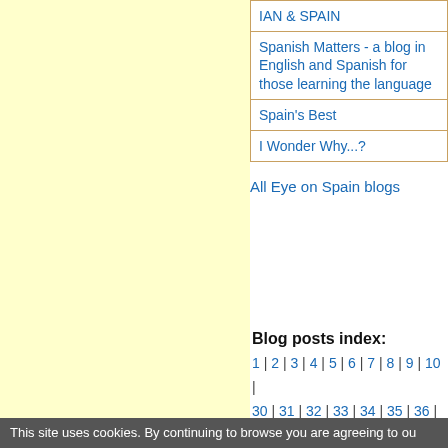[Figure (other): Light yellow background panel on the left side of the page]
| IAN & SPAIN |
| Spanish Matters - a blog in English and Spanish for those learning the language |
| Spain's Best |
| I Wonder Why...? |
All Eye on Spain blogs
Blog posts index:
1 | 2 | 3 | 4 | 5 | 6 | 7 | 8 | 9 | 10 | 30 | 31 | 32 | 33 | 34 | 35 | 36 | 37 | 57 | 58 | 59 | 60 | 61 | 62 | 63 | 6 |
This site uses cookies. By continuing to browse you are agreeing to ou